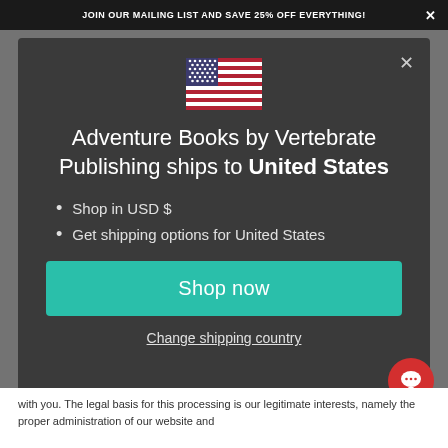JOIN OUR MAILING LIST AND SAVE 25% OFF EVERYTHING!
[Figure (screenshot): Modal dialog on a website with US flag, shipping info for United States, bullet points, and Shop now button]
Adventure Books by Vertebrate Publishing ships to United States
Shop in USD $
Get shipping options for United States
Shop now
Change shipping country
with you. The legal basis for this processing is our legitimate interests, namely the proper administration of our website and